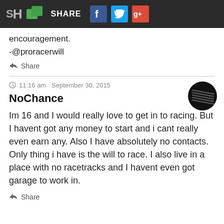[Figure (screenshot): Website toolbar with SH logo, green share icon, SHARE text, Facebook, Twitter and Google+ buttons on dark background]
encouragement.
-@proracerwill
Share
11:16 am   September 30, 2015
NoChance
Im 16 and I would really love to get in to racing. But I havent got any money to start and i cant really even earn any. Also I have absolutely no contacts. Only thing i have is the will to race. I also live in a place with no racetracks and I havent even got garage to work in.
Share